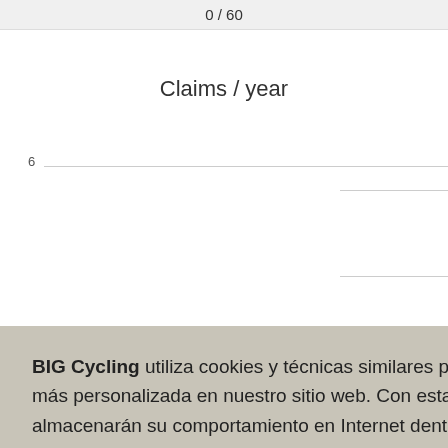0 / 60
Claims / year
[Figure (continuous-plot): Partially visible line/scatter chart titled 'Claims / year' with y-axis label 6, rotated x-axis labels showing years (2021, 2022, unknown), blue dots visible at bottom right, and a blue vertical bar element at bottom]
BIG Cycling utiliza cookies y técnicas similares para ayudarlo a tener una experiencia mejor y más personalizada en nuestro sitio web. Con estas cookies, BIG cycling y terceros rastrearán y almacenarán su comportamiento en Internet dentro de nuestro sitio.
Acepto